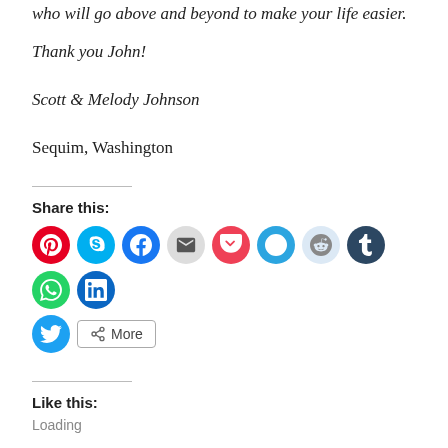who will go above and beyond to make your life easier.
Thank you John!
Scott & Melody Johnson
Sequim, Washington
Share this:
[Figure (infographic): Row of social media share icon buttons: Pinterest (red), Skype (blue), Facebook (blue), Email (gray), Pocket (red), Telegram (blue), Reddit (light blue), Tumblr (dark navy), WhatsApp (green), LinkedIn (blue), Twitter (blue), and a More button]
Like this:
Loading